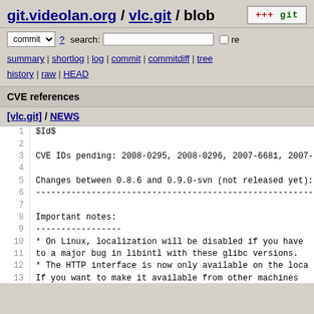git.videolan.org / vlc.git / blob
commit ? search: re
summary | shortlog | log | commit | commitdiff | tree history | raw | HEAD
CVE references
[vlc.git] / NEWS
1  $Id$
2
3  CVE IDs pending: 2008-0295, 2008-0296, 2007-6681, 2007-
4
5  Changes between 0.8.6 and 0.9.0-svn (not released yet):
6  ---
7
8  Important notes:
9  --------
10  * On Linux, localization will be disabled if you have
11     to a major bug in libintl with these glibc versions.
12  * The HTTP interface is now only available on the loca
13     If you want to make it available from other machines
14     edit the ".hosts" file.
15    - On UNIX/Linux, the file is in /usr/share/vlc/http/
16       If you're using the old http interface, it's locat
17       /usr/share/vlc/http/old/.hosts
18    - On Windows they are in C:\Program Files\VideoLAN\
19       C:\Program Files\VideoLAN\VLC\http/old\.hosts